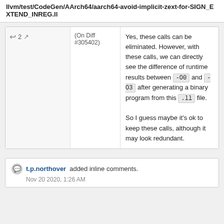llvm/test/CodeGen/AArch64/aarch64-avoid-implicit-zext-for-SIGN_EXTEND_INREG.ll
(On Diff #305402)
Yes, these calls can be eliminated. However, with these calls, we can directly see the difference of runtime results between -O0 and -O3 after generating a binary program from this .ll file.
So I guess maybe it's ok to keep these calls, although it may look redundant.
t.p.northover added inline comments.
Nov 20 2020, 1:26 AM